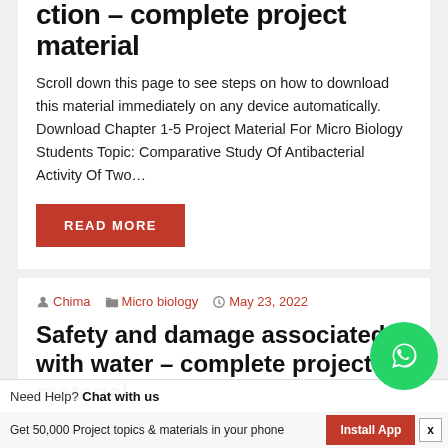ction – complete project material
Scroll down this page to see steps on how to download this material immediately on any device automatically. Download Chapter 1-5 Project Material For Micro Biology Students Topic: Comparative Study Of Antibacterial Activity Of Two…
READ MORE
Chima · Micro biology · May 23, 2022
Safety and damage associated with water – complete project material
Scroll down this page to download this material immediately on any device
Need Help? Chat with us
Get 50,000 Project topics & materials in your phone   Install App   x